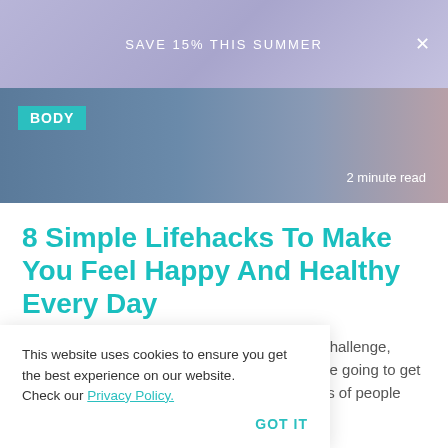SAVE 15% THIS SUMMER
[Figure (photo): Photo of person sitting on sofa, with BODY tag label and '2 minute read' text overlay]
8 Simple Lifehacks To Make You Feel Happy And Healthy Every Day
Setting fitness resolutions can feel like a real challenge, especially if you don't have any idea how you're going to get to your ultimate goal. Following in the footsteps of people who have [obscured] make [obscured] lthy [obscured] will help [obscured] he success you're looking for.
This website uses cookies to ensure you get the best experience on our website. Check our Privacy Policy.
GOT IT